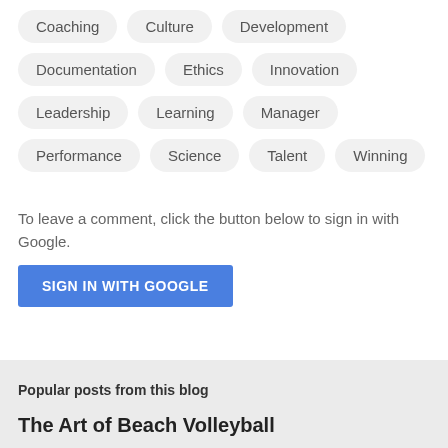Coaching
Culture
Development
Documentation
Ethics
Innovation
Leadership
Learning
Manager
Performance
Science
Talent
Winning
To leave a comment, click the button below to sign in with Google.
SIGN IN WITH GOOGLE
Popular posts from this blog
The Art of Beach Volleyball